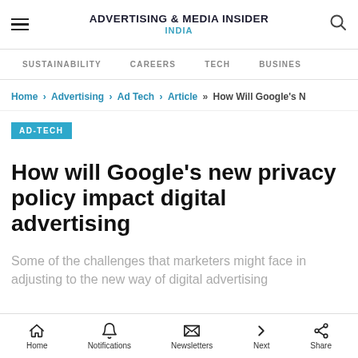ADVERTISING & MEDIA INSIDER INDIA
SUSTAINABILITY   CAREERS   TECH   BUSINESS
Home › Advertising › Ad Tech › Article »» How Will Google's N
AD-TECH
How will Google's new privacy policy impact digital advertising
Some of the challenges that marketers might face in adjusting to the new way of digital advertising
Home   Notifications   Newsletters   Next   Share